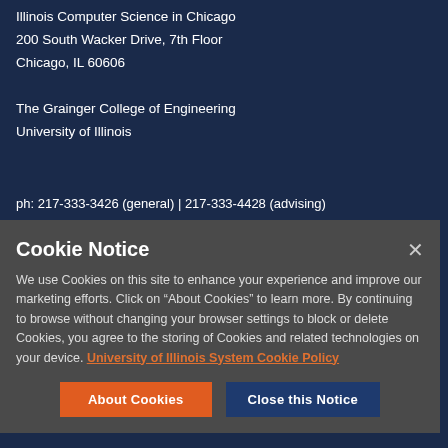Illinois Computer Science in Chicago
200 South Wacker Drive, 7th Floor
Chicago, IL 60606
The Grainger College of Engineering
University of Illinois
ph: 217-333-3426 (general) | 217-333-4428 (advising)
Cookie Notice
We use Cookies on this site to enhance your experience and improve our marketing efforts. Click on “About Cookies” to learn more. By continuing to browse without changing your browser settings to block or delete Cookies, you agree to the storing of Cookies and related technologies on your device. University of Illinois System Cookie Policy
About Cookies
Close this Notice